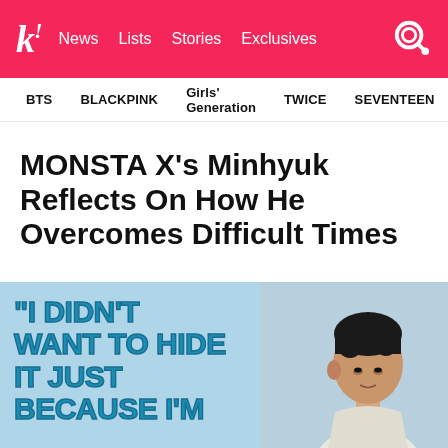k! News Lists Stories Exclusives
BTS  BLACKPINK  Girls' Generation  TWICE  SEVENTEEN
MONSTA X's Minhyuk Reflects On How He Overcomes Difficult Times
We can all learn from his advice.
[Figure (photo): Featured image with quote text reading '"I DIDN'T WANT TO HIDE IT JUST BECAUSE I'M...' overlaid on a light blue background with a photo of Minhyuk from MONSTA X on the right side.]